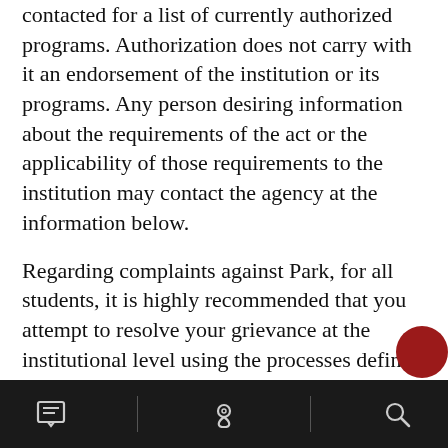contacted for a list of currently authorized programs. Authorization does not carry with it an endorsement of the institution or its programs. Any person desiring information about the requirements of the act or the applicability of those requirements to the institution may contact the agency at the information below.
Regarding complaints against Park, for all students, it is highly recommended that you attempt to resolve your grievance at the institutional level using the processes defined on Park's website and catalog(s).  However, students may appeal to the Georgia Nonpublic
[navigation bar with icons]